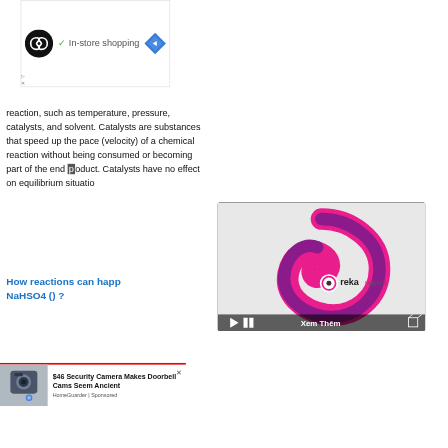[Figure (screenshot): Advertisement banner with infinity loop logo, checkmark, 'In-store shopping' text, and blue navigation diamond icon]
reaction, such as temperature, pressure, catalysts, and solvent. Catalysts are substances that speed up the pace (velocity) of a chemical reaction without being consumed or becoming part of the end product. Catalysts have no effect on equilibrium situatio
[Figure (logo): Ureka Media video overlay with pink/magenta swirl logo and 'Xem Thêm' (See More) button]
How reactions can happ NaHSO4 () ?
[Figure (photo): Security camera product photo for advertisement]
$46 Security Camera Makes Doorbell Cams Seem Ancient
HomeGuarder | Sponsored